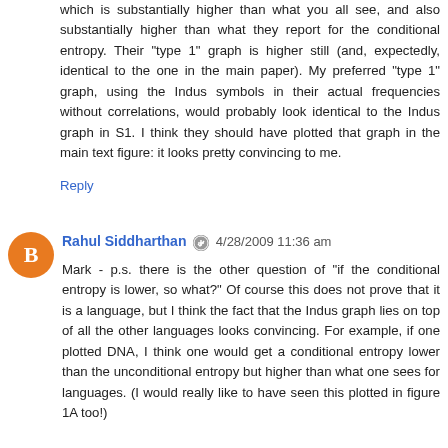which is substantially higher than what you all see, and also substantially higher than what they report for the conditional entropy. Their "type 1" graph is higher still (and, expectedly, identical to the one in the main paper). My preferred "type 1" graph, using the Indus symbols in their actual frequencies without correlations, would probably look identical to the Indus graph in S1. I think they should have plotted that graph in the main text figure: it looks pretty convincing to me.
Reply
Rahul Siddharthan 4/28/2009 11:36 am
Mark - p.s. there is the other question of "if the conditional entropy is lower, so what?" Of course this does not prove that it is a language, but I think the fact that the Indus graph lies on top of all the other languages looks convincing. For example, if one plotted DNA, I think one would get a conditional entropy lower than the unconditional entropy but higher than what one sees for languages. (I would really like to have seen this plotted in figure 1A too!)